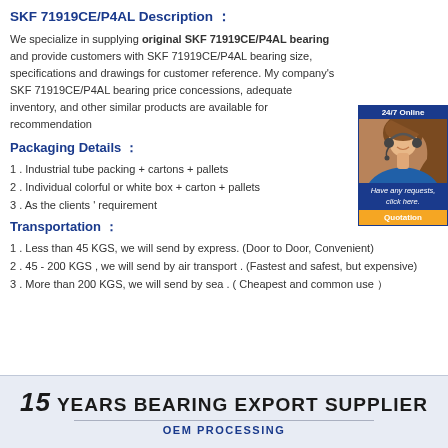SKF 71919CE/P4AL Description :
We specialize in supplying original SKF 71919CE/P4AL bearing and provide customers with SKF 71919CE/P4AL bearing size, specifications and drawings for customer reference. My company's SKF 71919CE/P4AL bearing price concessions, adequate inventory, and other similar products are available for recommendation
[Figure (photo): Customer service representative with headset, 24/7 Online badge, message text and Quotation button]
Packaging Details :
1 . Industrial tube packing + cartons + pallets
2 . Individual colorful or white box + carton + pallets
3 . As the clients ' requirement
Transportation :
1 . Less than 45 KGS, we will send by express. (Door to Door, Convenient)
2 . 45 - 200 KGS , we will send by air transport . (Fastest and safest, but expensive)
3 . More than 200 KGS, we will send by sea . ( Cheapest and common use )
[Figure (infographic): 15 YEARS BEARING EXPORT SUPPLIER banner with OEM PROCESSING subtitle on light blue background]